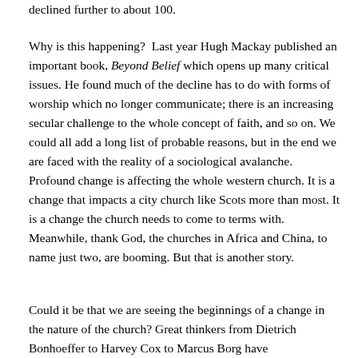declined further to about 100.
Why is this happening?  Last year Hugh Mackay published an important book, Beyond Belief which opens up many critical issues. He found much of the decline has to do with forms of worship which no longer communicate; there is an increasing secular challenge to the whole concept of faith, and so on. We could all add a long list of probable reasons, but in the end we are faced with the reality of a sociological avalanche. Profound change is affecting the whole western church. It is a change that impacts a city church like Scots more than most. It is a change the church needs to come to terms with.  Meanwhile, thank God, the churches in Africa and China, to name just two, are booming. But that is another story.
Could it be that we are seeing the beginnings of a change in the nature of the church? Great thinkers from Dietrich Bonhoeffer to Harvey Cox to Marcus Borg have